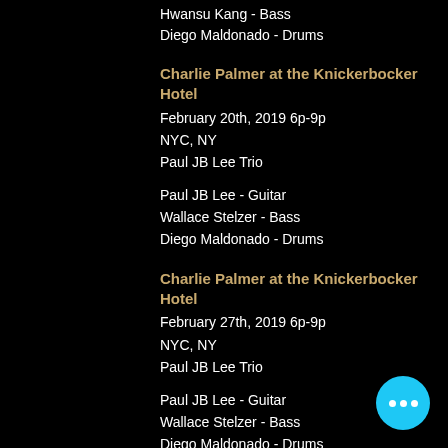Hwansu Kang - Bass
Diego Maldonado - Drums
Charlie Palmer at the Knickerbocker Hotel
February 20th, 2019 6p-9p
NYC, NY
Paul JB Lee Trio
Paul JB Lee - Guitar
Wallace Stelzer - Bass
Diego Maldonado - Drums
Charlie Palmer at the Knickerbocker Hotel
February 27th, 2019 6p-9p
NYC, NY
Paul JB Lee Trio
Paul JB Lee - Guitar
Wallace Stelzer - Bass
Diego Maldonado - Drums